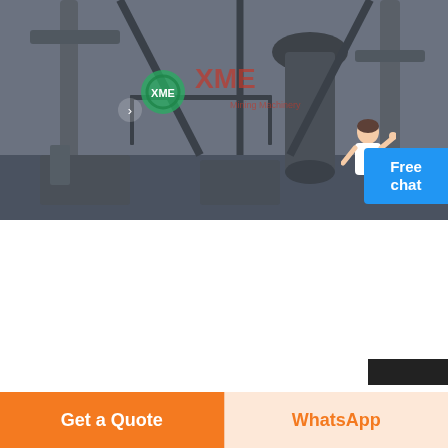[Figure (photo): Industrial mining equipment / mixing machine facility interior with large metal machinery, pipes, and structural components. XME Mining Machinery watermark/logo visible in center.]
bailing brand mining mixing machine
Ball mill, Grinding machine, Wet ball mill, Dry ball Click to view on Bing3:57. By Eric Zhang· Inquire Now; Storage hopper, Storage hopper direct from . Storage hopper from Zhengzhou Huahong
Get a Quote  WhatsApp